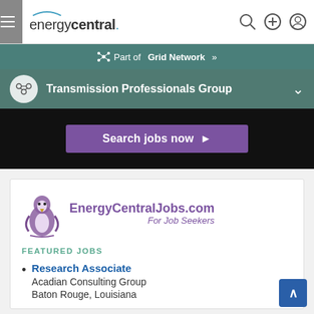energycentral.
Part of Grid Network »
Transmission Professionals Group
[Figure (screenshot): Purple button: Search jobs now with right arrow]
[Figure (logo): EnergyCentralJobs.com For Job Seekers logo with penguin illustration]
FEATURED JOBS
Research Associate
Acadian Consulting Group
Baton Rouge, Louisiana